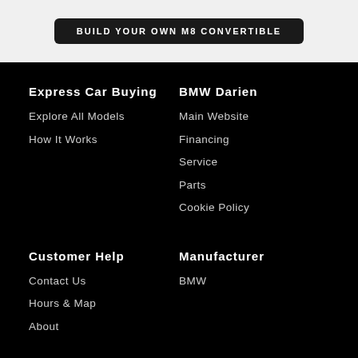BUILD YOUR OWN M8 CONVERTIBLE
Express Car Buying
Explore All Models
How It Works
BMW Darien
Main Website
Financing
Service
Parts
Cookie Policy
Customer Help
Contact Us
Hours & Map
About
Manufacturer
BMW